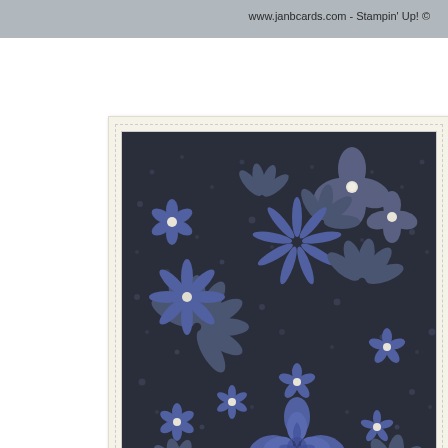www.janbcards.com - Stampin' Up! ©
[Figure (photo): Close-up photograph of a handmade card featuring blue/navy embossed or sculpted clay flowers including roses, hydrangeas, and small daisy-like blooms with pearl embellishments on a dark background, mounted on a cream/ivory card base with dashed border detail.]